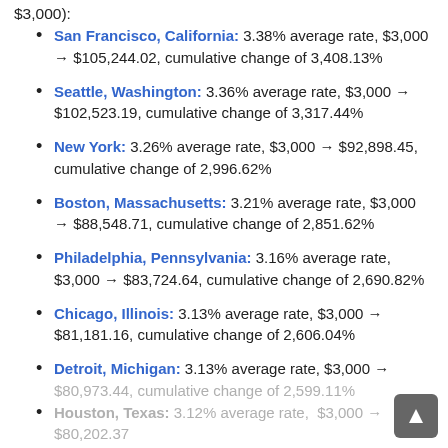$3,000):
San Francisco, California: 3.38% average rate, $3,000 → $105,244.02, cumulative change of 3,408.13%
Seattle, Washington: 3.36% average rate, $3,000 → $102,523.19, cumulative change of 3,317.44%
New York: 3.26% average rate, $3,000 → $92,898.45, cumulative change of 2,996.62%
Boston, Massachusetts: 3.21% average rate, $3,000 → $88,548.71, cumulative change of 2,851.62%
Philadelphia, Pennsylvania: 3.16% average rate, $3,000 → $83,724.64, cumulative change of 2,690.82%
Chicago, Illinois: 3.13% average rate, $3,000 → $81,181.16, cumulative change of 2,606.04%
Detroit, Michigan: 3.13% average rate, $3,000 → $80,973.44, cumulative change of 2,599.11%
Houston, Texas: 3.12% average rate, $3,000 → $80,202.37